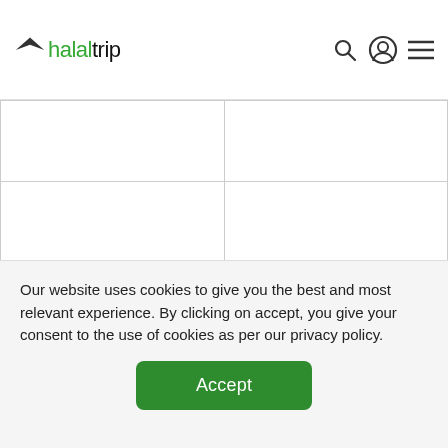halaltrip
|  |  |
| Malaga Airport | Website: www.aena.es
Contact: + 34 90 240 4704 |
|  |  |
Our website uses cookies to give you the best and most relevant experience. By clicking on accept, you give your consent to the use of cookies as per our privacy policy.